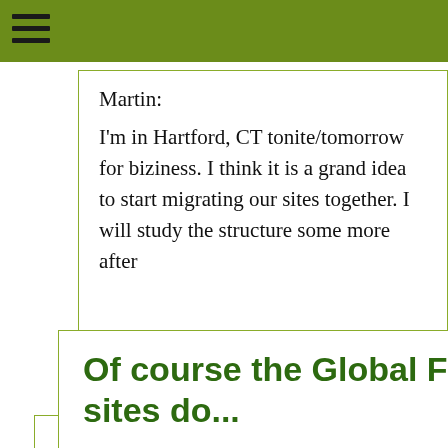Martin:
I'm in Hartford, CT tonite/tomorrow for biziness. I think it is a grand idea to start migrating our sites together. I will study the structure some more after
Of course the Global FlyFisher uses cookies! All sites do...
Authorities require us to have you confirm this by clicking any link on this page. You are then giving your consent for us to set cookies. No cookies, no GFF!
More about privacy and cookies
OK, I agree